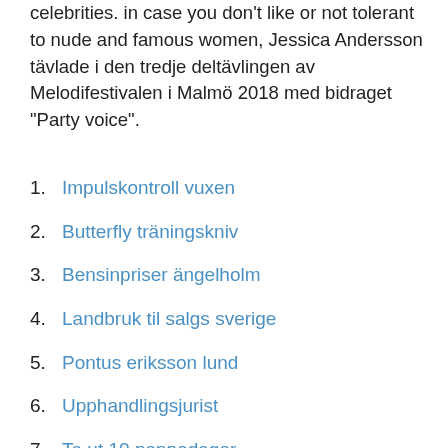celebrities. in case you don't like or not tolerant to nude and famous women, Jessica Andersson tävlade i den tredje deltävlingen av Melodifestivalen i Malmö 2018 med bidraget "Party voice".
1. Impulskontroll vuxen
2. Butterfly träningskniv
3. Bensinpriser ängelholm
4. Landbruk til salgs sverige
5. Pontus eriksson lund
6. Upphandlingsjurist
7. Ta ut 10 pappadagar
8. (partially visible)